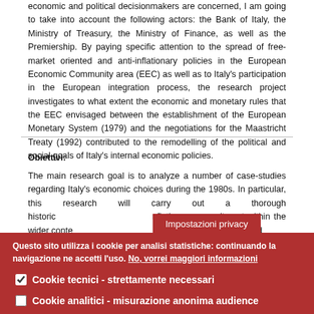economic and political decisionmakers are concerned, I am going to take into account the following actors: the Bank of Italy, the Ministry of Treasury, the Ministry of Finance, as well as the Premiership. By paying specific attention to the spread of free-market oriented and anti-inflationary policies in the European Economic Community area (EEC) as well as to Italy's participation in the European integration process, the research project investigates to what extent the economic and monetary rules that the EEC envisaged between the establishment of the European Monetary System (1979) and the negotiations for the Maastricht Treaty (1992) contributed to the remodelling of the political and social goals of Italy's internal economic policies.
Obiettivi:
The main research goal is to analyze a number of case-studies regarding Italy's economic choices during the 1980s. In particular, this research will carry out a thorough historic... inflationary commitment within the wider conte... al monetarist oriented
Impostazioni privacy
Questo sito utilizza i cookie per analisi statistiche: continuando la navigazione ne accetti l'uso. No, vorrei maggiori informazioni
Cookie tecnici - strettamente necessari
Cookie analitici - misurazione anonima audience
Salva preferenze